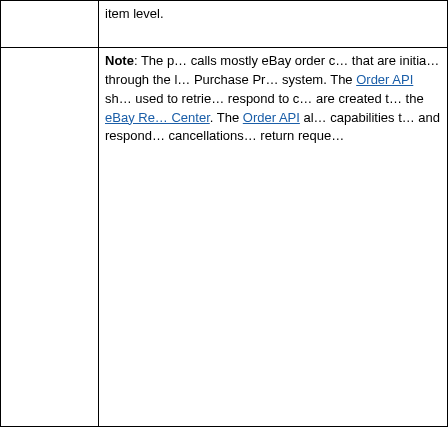|  | item level. |
|  | Note: The p… calls mostly eBay order c… that are initia… through the l… Purchase Pr… system. The Order API sh… used to retrie… respond to c… are created t… the eBay Re… Center. The Order API al… capabilities t… and respond… cancellations… return reque… |